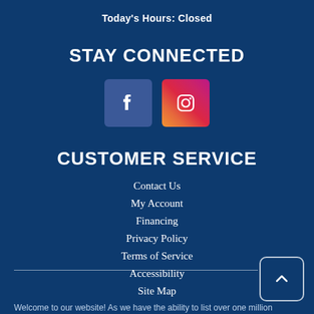Today's Hours: Closed
STAY CONNECTED
[Figure (illustration): Facebook and Instagram social media icons side by side]
CUSTOMER SERVICE
Contact Us
My Account
Financing
Privacy Policy
Terms of Service
Accessibility
Site Map
Welcome to our website! As we have the ability to list over one million